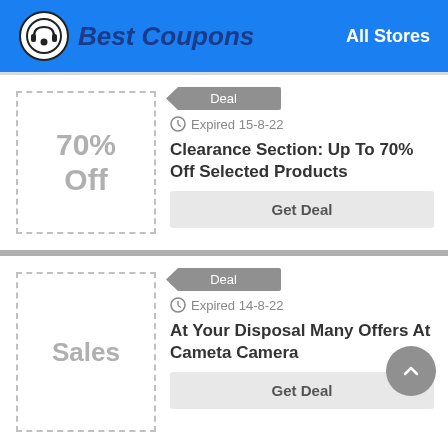Best Coupons — All Stores
[Figure (infographic): Coupon deal card: 70% Off — Clearance Section: Up To 70% Off Selected Products. Expired 15-8-22. Get Deal button.]
[Figure (infographic): Coupon deal card: Sales — At Your Disposal Many Offers At Cameta Camera. Expired 14-8-22. Get Deal button.]